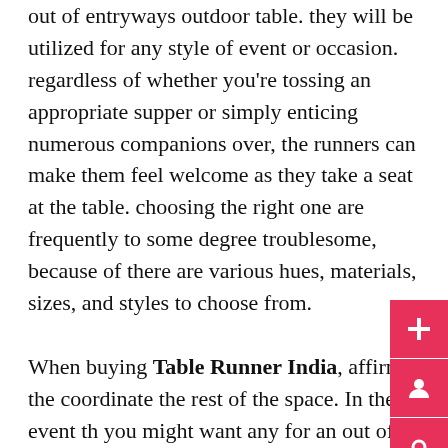out of entryways outdoor table. they will be utilized for any style of event or occasion. regardless of whether you're tossing an appropriate supper or simply enticing numerous companions over, the runners can make them feel welcome as they take a seat at the table. choosing the right one are frequently to some degree troublesome, because of there are various hues, materials, sizes, and styles to choose from.

When buying Table Runner India, affirm the coordinate the rest of the space. In the event that you might want any for an out of entryways outdoor table, your most logical option is to go